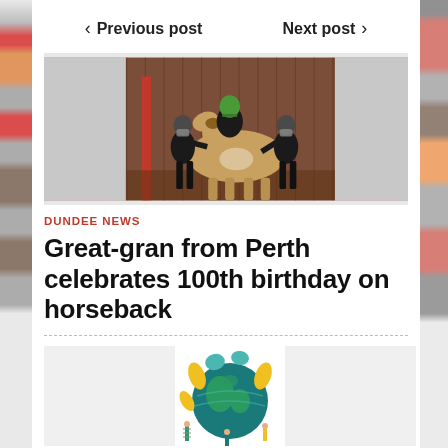< Previous post    Next post >
[Figure (photo): A child wearing a green helmet sits on a brown and white horse inside a stable. Two adults in black clothing and face masks stand on either side of the horse, holding its reins. A red post is visible on the left. The background is a corrugated metal stable wall.]
DUNDEE NEWS
Great-gran from Perth celebrates 100th birthday on horseback
[Figure (illustration): A colorful illustration of a large globe/Earth with people standing around it. The globe shows teal/green continents. Surrounding the globe are yellow leaf/teardrop shapes and small illustrated people, one holding a ladder. The style is flat vector art.]